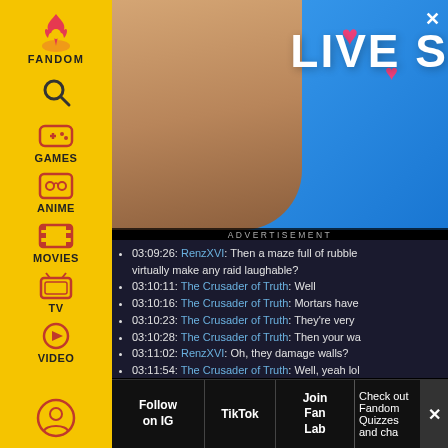[Figure (screenshot): Fandom website sidebar navigation with yellow background, showing Fandom logo/flame icon, search icon, Games, Anime, Movies, TV, Video nav items]
[Figure (photo): Advertisement banner showing a young woman making a kiss face against a blue background with hearts and LIVE S... text]
ADVERTISEMENT
03:09:26: RenzXVI: Then a maze full of rubble virtually make any raid laughable?
03:10:11: The Crusader of Truth: Well
03:10:16: The Crusader of Truth: Mortars have
03:10:23: The Crusader of Truth: They're very
03:10:28: The Crusader of Truth: Then your wa
03:11:02: RenzXVI: Oh, they damage walls?
03:11:54: The Crusader of Truth: Well, yeah lol
03:17:43: The Crusader of Truth: Man, I made a
03:20:40: RenzXVI: Would small hills be enoug
Follow on IG | TikTok | Join Fan Lab | Check out Fandom Quizzes and cha...